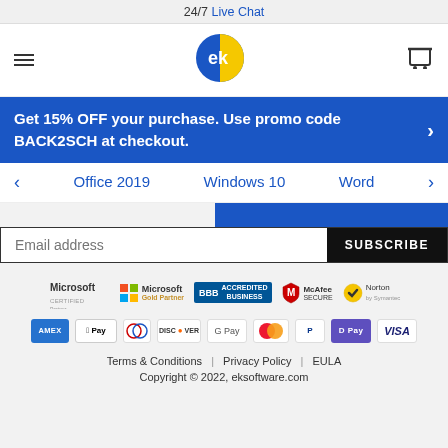24/7 Live Chat
[Figure (logo): EK Software logo - blue and yellow circle with 'ek' text]
Get 15% OFF your purchase. Use promo code BACK2SCH at checkout.
Office 2019
Windows 10
Word
Email address
SUBSCRIBE
[Figure (logo): Trust badges: Microsoft Certified, Microsoft Gold Partner, BBB Accredited Business, McAfee Secure, Norton by Symantec]
[Figure (logo): Payment methods: Amex, Apple Pay, Diners, Discover, Google Pay, Mastercard, PayPal, D Pay, Visa]
Terms & Conditions | Privacy Policy | EULA
Copyright © 2022, eksoftware.com